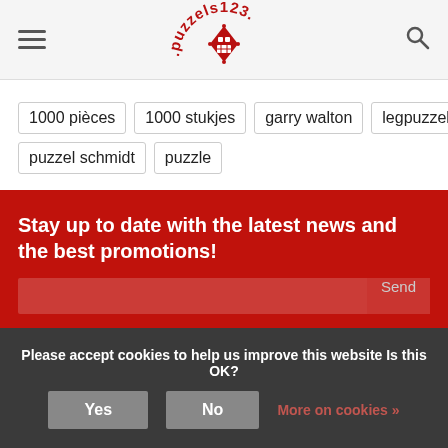puzzels123 (logo) — hamburger menu and search icon
1000 pièces
1000 stukjes
garry walton
legpuzzel
puzzel
puzzel schmidt
puzzle
Stay up to date with the latest news and the best promotions!
Please accept cookies to help us improve this website Is this OK?